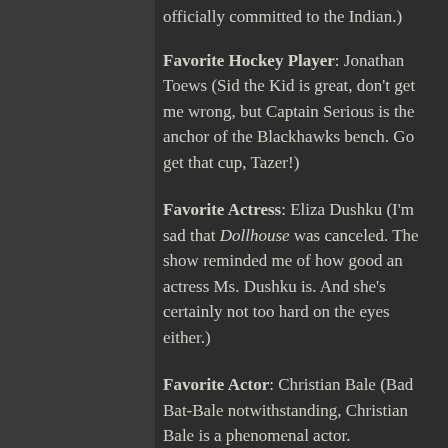officially committed to the Indian.)
Favorite Hockey Player: Jonathan Toews (Sid the Kid is great, don't get me wrong, but Captain Serious is the anchor of the Blackhawks bench. Go get that cup, Tazer!)
Favorite Actress: Eliza Dushku (I'm sad that Dollhouse was canceled. The show reminded me of how good an actress Ms. Dushku is. And she's certainly not too hard on the eyes either.)
Favorite Actor: Christian Bale (Bad Bat-Bale notwithstanding, Christian Bale is a phenomenal actor. American Psycho and The Machinist are in my top 10 movies,